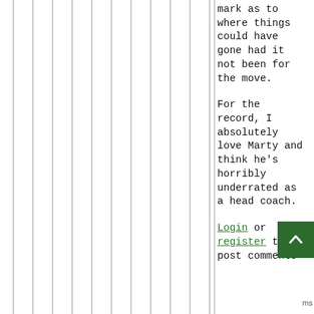mark as to where things could have gone had it not been for the move.
For the record, I absolutely love Marty and think he's horribly underrated as a head coach.
Login or register to post comments